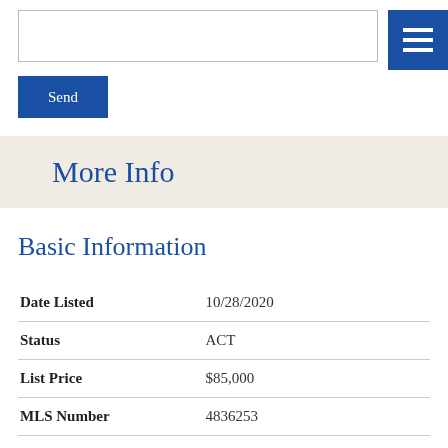Send
More Info
Basic Information
|  |  |
| --- | --- |
| Date Listed | 10/28/2020 |
| Status | ACT |
| List Price | $85,000 |
| MLS Number | 4836253 |
| MLS Status | Active |